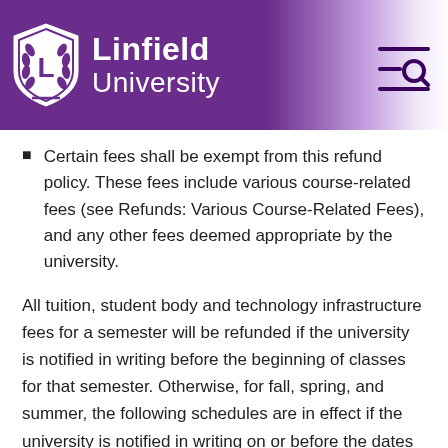Linfield University
Certain fees shall be exempt from this refund policy. These fees include various course-related fees (see Refunds: Various Course-Related Fees), and any other fees deemed appropriate by the university.
All tuition, student body and technology infrastructure fees for a semester will be refunded if the university is notified in writing before the beginning of classes for that semester. Otherwise, for fall, spring, and summer, the following schedules are in effect if the university is notified in writing on or before the dates listed below.
See the OCE section of the catalog for the OCE refund schedule, which applies only to McMinnville and